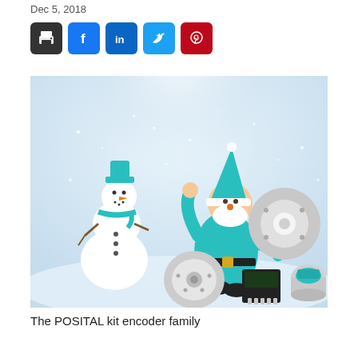Dec 5, 2018
[Figure (screenshot): Social media share buttons: print (black), Facebook (blue), LinkedIn (dark blue), Twitter (light blue), Pinterest (red)]
[Figure (photo): Holiday-themed promotional image showing the POSITAL kit encoder family with a cartoon snowman and Santa Claus in teal/green colors, along with physical encoder products on a snowy white background]
The POSITAL kit encoder family